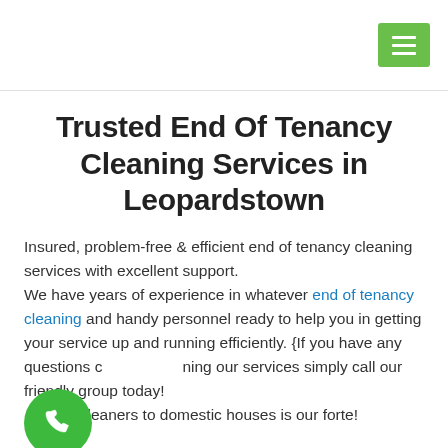[Figure (other): Green hamburger menu button in top right corner of page header]
Trusted End Of Tenancy Cleaning Services in Leopardstown
Insured, problem-free & efficient end of tenancy cleaning services with excellent support.
We have years of experience in whatever end of tenancy cleaning and handy personnel ready to help you in getting your service up and running efficiently. {If you have any questions concerning our services simply call our friendly group today! Providing trusted cleaners to domestic houses is our forte!
[Figure (other): Green circular phone call button in bottom left corner]